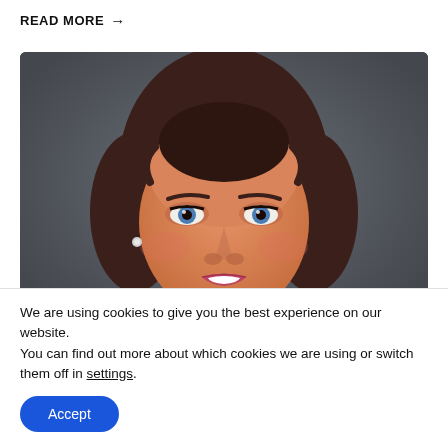READ MORE →
[Figure (photo): Professional headshot of a young woman with brown hair pulled back, blue eyes, smiling, wearing makeup, against a dark gray background.]
We are using cookies to give you the best experience on our website.
You can find out more about which cookies we are using or switch them off in settings.
Accept